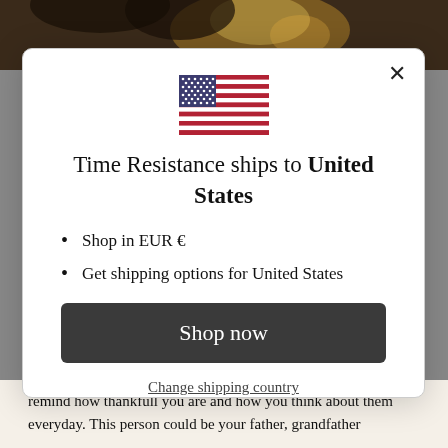[Figure (photo): Dark background photo area (top of page behind modal), appears to show a celebration/sparkler scene]
[Figure (illustration): US Flag emoji/icon centered in modal dialog]
Time Resistance ships to United States
Shop in EUR €
Get shipping options for United States
Shop now
Change shipping country
remind how thankfull you are and how you think about them everyday. This person could be your father, grandfather